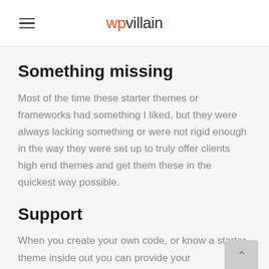wpvillain
Something missing
Most of the time these starter themes or frameworks had something I liked, but they were always lacking something or were not rigid enough in the way they were set up to truly offer clients high end themes and get them these in the quickest way possible.
Support
When you create your own code, or know a starter theme inside out you can provide your